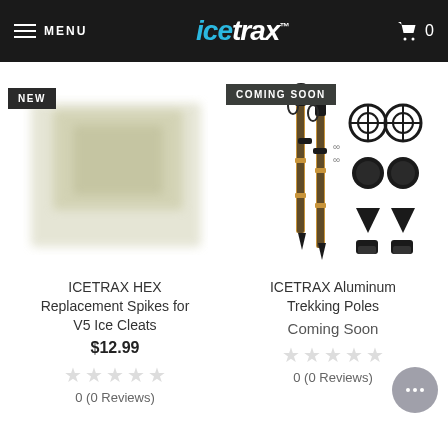MENU | icetrax™ | 0
[Figure (photo): Blurred product image of ICETRAX HEX Replacement Spikes with NEW badge]
ICETRAX HEX Replacement Spikes for V5 Ice Cleats
$12.99
0 (0 Reviews)
[Figure (photo): ICETRAX Aluminum Trekking Poles product image showing two black and gold poles with accessories, COMING SOON badge]
ICETRAX Aluminum Trekking Poles
Coming Soon
0 (0 Reviews)